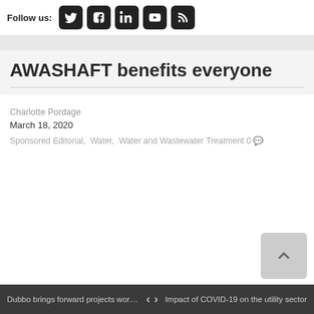Follow us:
AWASHAFT benefits everyone
Charlotte Pordage
March 18, 2020
Sponsored Editorial,  Water,  Water and Wastewater Treatment 0
Dubbo brings forward projects worth $2.1...  <  >  Impact of COVID-19 on the utility sector